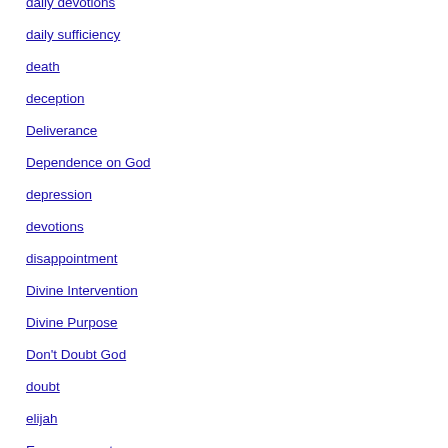daily devotions
daily sufficiency
death
deception
Deliverance
Dependence on God
depression
devotions
disappointment
Divine Intervention
Divine Purpose
Don't Doubt God
doubt
elijah
Empowerment
encourage
encouragement
Eternal Hope
Eternal Inspiration